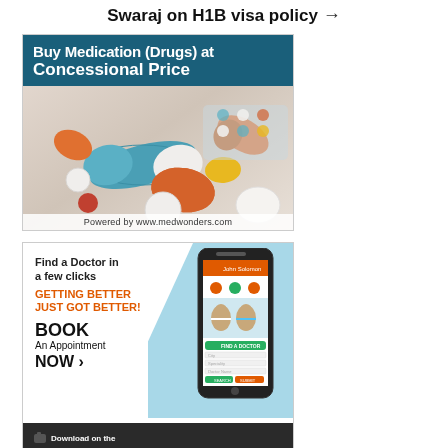Swaraj on H1B visa policy →
[Figure (photo): Advertisement banner for MedWonders showing colorful pills and capsules with text 'Buy Medication (Drugs) at Concessional Price' on dark teal header background. Footer reads 'Powered by www.medwonders.com']
[Figure (photo): Advertisement banner for a doctor-finding app with text 'Find a Doctor in a few clicks', 'GETTING BETTER JUST GOT BETTER!', 'BOOK An Appointment NOW >' on the left, and a smartphone mockup showing the app interface with doctors on the right. Bottom bar says 'Download on the...']